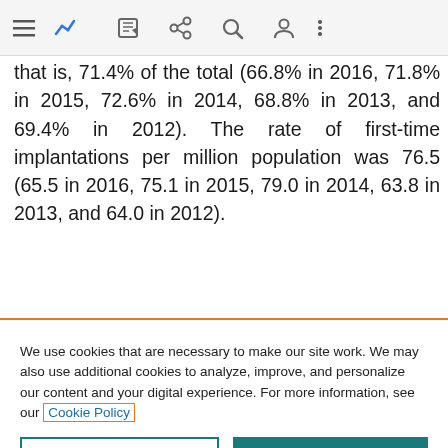[Figure (other): Mobile app navigation bar with hamburger menu, chart icon (blue), edit icon, share icon, search icon, user icon, and more options icon]
that is, 71.4% of the total (66.8% in 2016, 71.8% in 2015, 72.6% in 2014, 68.8% in 2013, and 69.4% in 2012). The rate of first-time implantations per million population was 76.5 (65.5 in 2016, 75.1 in 2015, 79.0 in 2014, 63.8 in 2013, and 64.0 in 2012).
We use cookies that are necessary to make our site work. We may also use additional cookies to analyze, improve, and personalize our content and your digital experience. For more information, see our Cookie Policy
Cookie settings
Accept all cookies